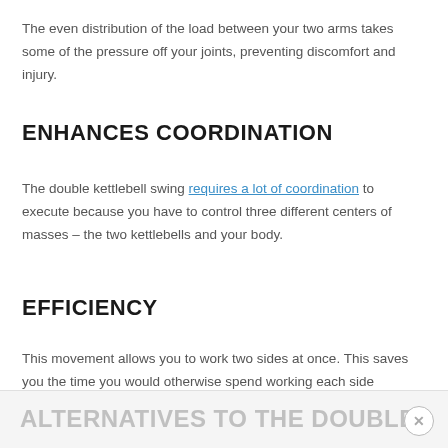The even distribution of the load between your two arms takes some of the pressure off your joints, preventing discomfort and injury.
ENHANCES COORDINATION
The double kettlebell swing requires a lot of coordination to execute because you have to control three different centers of masses – the two kettlebells and your body.
EFFICIENCY
This movement allows you to work two sides at once. This saves you the time you would otherwise spend working each side independently.
ALTERNATIVES TO THE DOUBLE